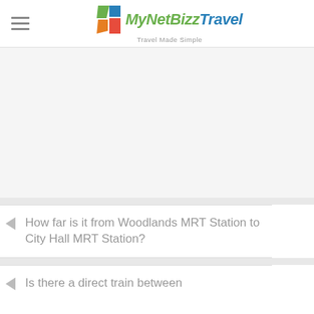MyNetBizzTravel — Travel Made Simple
[Figure (other): Advertisement placeholder area (blank/grey)]
How far is it from Woodlands MRT Station to City Hall MRT Station?
Is there a direct train between